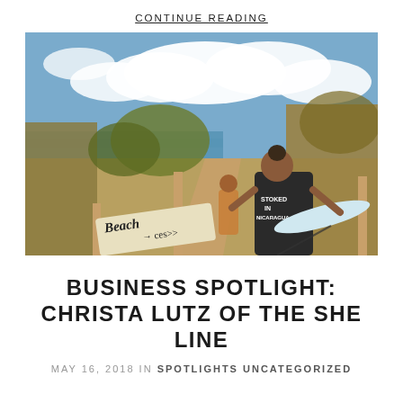CONTINUE READING
[Figure (photo): Two people walking toward a beach access path through dry scrubland. A wooden sign reads 'Beach Access' with an arrow. One person in the foreground wears a black sleeveless shirt reading 'STOKED IN NICARAGUA' and carries a surfboard. Blue sky with clouds in background.]
BUSINESS SPOTLIGHT: CHRISTA LUTZ OF THE SHE LINE
MAY 16, 2018 IN SPOTLIGHTS UNCATEGORIZED